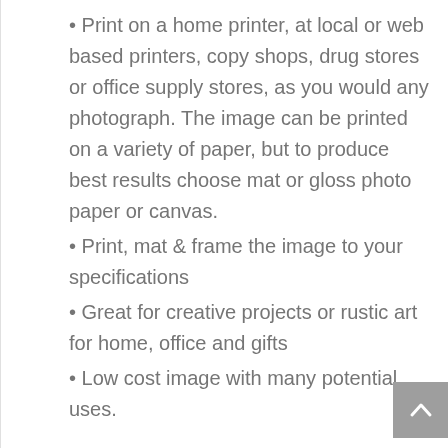• Print on a home printer, at local or web based printers, copy shops, drug stores or office supply stores, as you would any photograph. The image can be printed on a variety of paper, but to produce best results choose mat or gloss photo paper or canvas.
• Print, mat & frame the image to your specifications
• Great for creative projects or rustic art for home, office and gifts
• Low cost image with many potential uses.
Printed color may be slightly different than what is displayed on monitors due to resolution, print settings and paper choice. Be